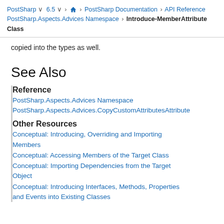PostSharp ∨ 6.5 ∨ > ⌂ > PostSharp Documentation > API Reference > PostSharp.Aspects.Advices Namespace > IntroduceMemberAttribute Class
copied into the types as well.
See Also
Reference
PostSharp.Aspects.Advices Namespace
PostSharp.Aspects.Advices.CopyCustomAttributesAttribute
Other Resources
Conceptual: Introducing, Overriding and Importing Members
Conceptual: Accessing Members of the Target Class
Conceptual: Importing Dependencies from the Target Object
Conceptual: Introducing Interfaces, Methods, Properties and Events into Existing Classes